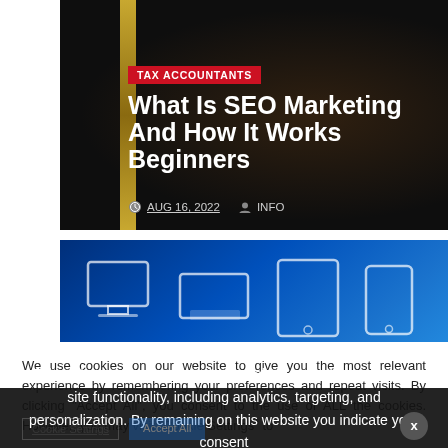[Figure (screenshot): Hero card with dark background, gold strip on left, red category tag reading TAX ACCOUNTANTS, large white bold title 'What Is SEO Marketing And How It Works Beginners', and metadata showing date AUG 16, 2022 and author INFO]
[Figure (screenshot): Blue banner with device outline icons (monitor, tablet, phone, etc.) on a blue gradient background]
We use cookies on our website to give you the most relevant experience by remembering your preferences and repeat visits. By clicking "Accept All", you consent to the use of ALL the cookies. However, you may visit "Cookie Settings" to
This website stores data such as cookies to enable necessary site functionality, including analytics, targeting, and personalization. By remaining on this website you indicate your consent Cookie Policy